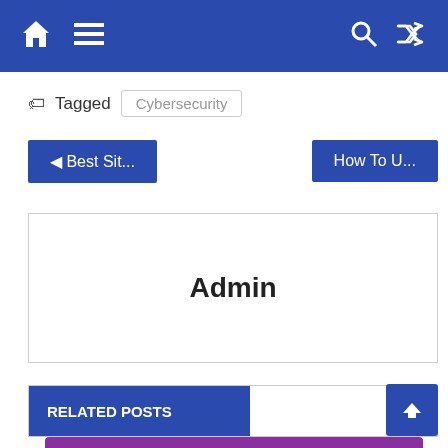Navigation bar with home, menu, search, shuffle icons
Tagged Cybersecurity
◄ Best Sit...
How To U...
Admin
RELATED POSTS
[Figure (illustration): Purple background illustration showing a globe with cloud-phone icons connected by lines, representing mobile cloud network/cybersecurity concept]